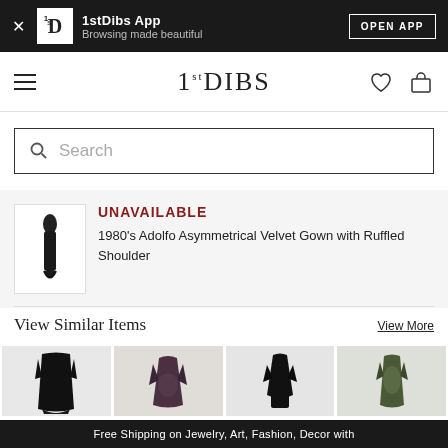1stDibs App – Browsing made beautiful | OPEN APP
[Figure (screenshot): 1stDibs navigation bar with hamburger menu, logo, heart icon and shopping bag icon]
Search
UNAVAILABLE
1980's Adolfo Asymmetrical Velvet Gown with Ruffled Shoulder
View Similar Items
View More
[Figure (photo): Black long dress with ruffled accents]
[Figure (photo): Dark patterned gown]
[Figure (photo): Black wrap dress]
[Figure (photo): Patterned long dress]
[Figure (photo): Dark strapless gown]
[Figure (photo): Embellished top gown]
[Figure (photo): Dark pants set]
[Figure (photo): Dark embellished gown]
Free Shipping on Jewelry, Art, Fashion, Decor with